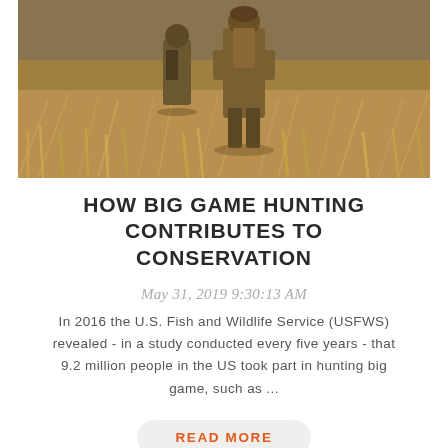[Figure (photo): Two hunters in camouflage/brown gear walking through a golden dry grass field, carrying hunting equipment, viewed from behind/front perspective]
HOW BIG GAME HUNTING CONTRIBUTES TO CONSERVATION
May 31, 2019 9:30:13 AM
In 2016 the U.S. Fish and Wildlife Service (USFWS) revealed - in a study conducted every five years - that 9.2 million people in the US took part in hunting big game, such as ...
READ MORE